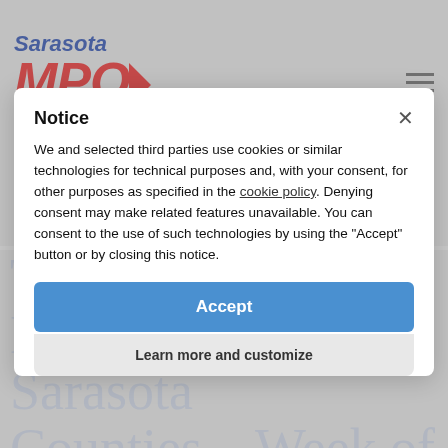[Figure (logo): Sarasota MPO Manatee logo with red italic MPO text and blue italic Sarasota and Manatee text]
HOME / BLOG / TRAFFIC WATCH FOR MANATEE AND SARASOTA COUNTIES – WEEK OF MAY 8
Font size: [icons] Print
Traffic Watch for Manatee and Sarasota Counties – Week of May 8
Notice

We and selected third parties use cookies or similar technologies for technical purposes and, with your consent, for other purposes as specified in the cookie policy. Denying consent may make related features unavailable. You can consent to the use of such technologies by using the "Accept" button or by closing this notice.

Accept

Learn more and customize